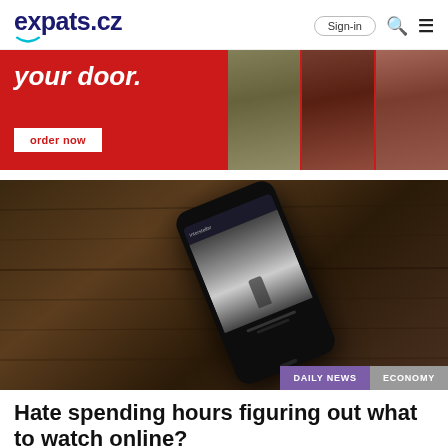expats.cz — Sign-in (search) (menu)
[Figure (photo): Red food delivery banner ad with text 'your door.' and 'order now' button, with food photos on the right]
[Figure (photo): Smartphone on a wooden table showing Interstellar movie app screen, with DAILY NEWS and ECONOMY category labels]
Hate spending hours figuring out what to watch online?